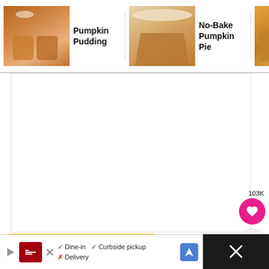Pumpkin Pudding | No-Bake Pumpkin Pie | Easy Pumpkin Dump Cake Recipe
[Figure (screenshot): White blank content/ad area]
FOUR DELICIOUS PUMPKIN LASAGNA LAYERS:
The Pumpkin Delight Dessert is made up of four delicious layers.
[Figure (screenshot): Bottom advertisement bar with Smoothie King logo, dine-in/curbside pickup options, and navigation icon. Right side shows dark bar with X close button.]